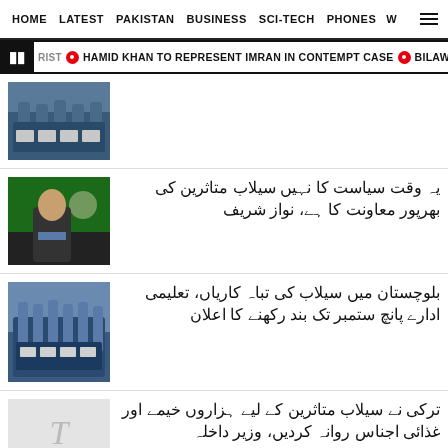HOME  LATEST  PAKISTAN  BUSINESS  SCI-TECH  PHONES  W
RIST  HAMID KHAN TO REPRESENT IMRAN IN CONTEMPT CASE  BILAWAL H
[Figure (photo): School children in blue uniforms reading books]
یہ وقت سیاست کا نہیں سیلاب متاثرین کی بھرپور معاونت کا ہے، نواز شریف
[Figure (photo): Man in suit with Pakistani flag in background]
بلوچستان میں سیلاب کی تباہ کاریاں، تعلیمی ادارے پانچ ستمبر تک بند رکھنے کا اعلان
[Figure (photo): Children in school uniforms in classroom]
ترکی نے سیلاب متاثرین کے لیے ہزاروں خیمے اور غذائی اجناس روانہ کردیں، وزیر داخلہ
[Figure (logo): The Express Tribune logo placeholder]